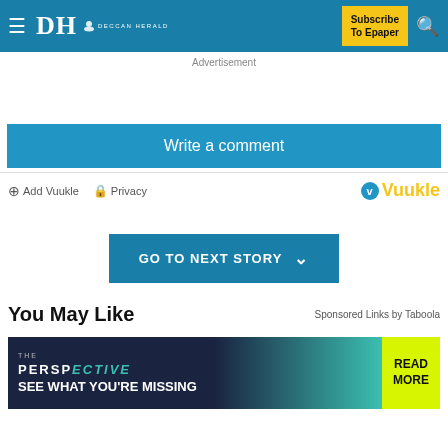DH DECCAN HERALD | Subscribe To Epaper
Advertisement
Write a comment
Add Vuukle  Privacy  Vuukle
GO TO NEXT STORY
You May Like
Sponsored Links by Taboola
[Figure (screenshot): THE PERSPECTIVE advertisement banner: dark navy and teal background with text 'SEE WHAT YOU'RE MISSING' and yellow 'READ MORE' button on the right]